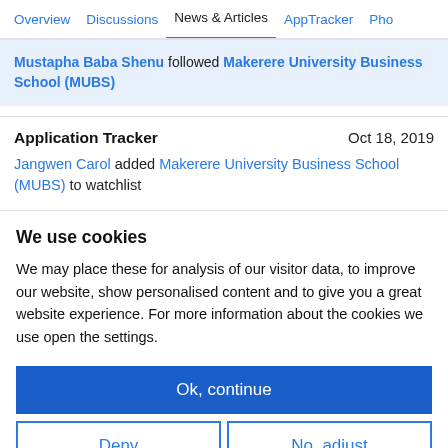Overview   Discussions   News & Articles   AppTracker   Pho
Mustapha Baba Shenu followed Makerere University Business School (MUBS)
Application Tracker
Oct 18, 2019
Jangwen Carol added Makerere University Business School (MUBS) to watchlist
We use cookies
We may place these for analysis of our visitor data, to improve our website, show personalised content and to give you a great website experience. For more information about the cookies we use open the settings.
Ok, continue
Deny
No, adjust